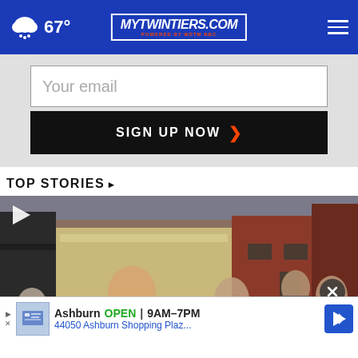67° MyTwinTiers.com
Your email
SIGN UP NOW ›
TOP STORIES ›
[Figure (photo): Outdoor street scene with crowd of people, brick buildings, man in foreground, play button overlay]
Ashburn OPEN | 9AM–7PM  44050 Ashburn Shopping Plaz...